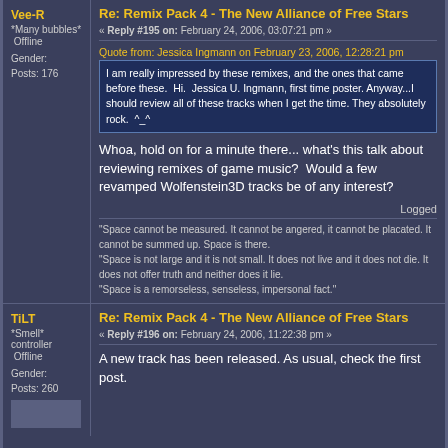Re: Remix Pack 4 - The New Alliance of Free Stars
« Reply #195 on: February 24, 2006, 03:07:21 pm »
Quote from: Jessica Ingmann on February 23, 2006, 12:28:21 pm
I am really impressed by these remixes, and the ones that came before these.  Hi.  Jessica U. Ingmann, first time poster.  Anyway...I should review all of these tracks when I get the time.  They absolutely rock.  ^_^
Whoa, hold on for a minute there... what's this talk about reviewing remixes of game music?  Would a few revamped Wolfenstein3D tracks be of any interest?
Logged
"Space cannot be measured. It cannot be angered, it cannot be placated. It cannot be summed up. Space is there.
"Space is not large and it is not small. It does not live and it does not die. It does not offer truth and neither does it lie.
"Space is a remorseless, senseless, impersonal fact."
Re: Remix Pack 4 - The New Alliance of Free Stars
« Reply #196 on: February 24, 2006, 11:22:38 pm »
A new track has been released. As usual, check the first post.